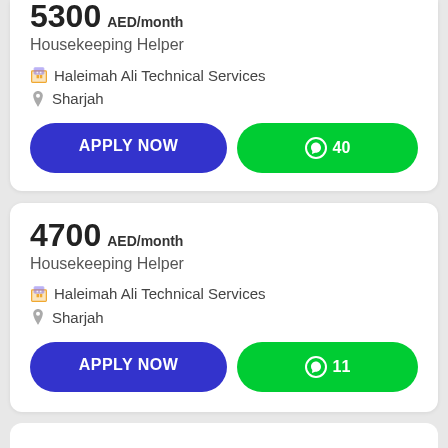5300 AED/month
Housekeeping Helper
Haleimah Ali Technical Services
Sharjah
APPLY NOW
Share 40
4700 AED/month
Housekeeping Helper
Haleimah Ali Technical Services
Sharjah
APPLY NOW
Share 11